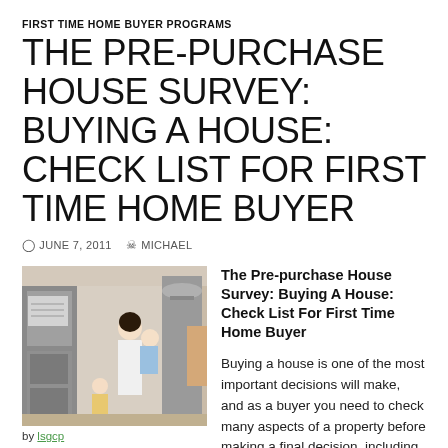FIRST TIME HOME BUYER PROGRAMS
THE PRE-PURCHASE HOUSE SURVEY: BUYING A HOUSE: CHECK LIST FOR FIRST TIME HOME BUYER
JUNE 7, 2011   MICHAEL
[Figure (photo): A woman holding a baby in a utility or laundry room with appliances and a child nearby]
by lsgcp
First Time Home Buyer Programs
The Pre-purchase House Survey: Buying A House: Check List For First Time Home Buyer
Buying a house is one of the most important decisions will make, and as a buyer you need to check many aspects of a property before making a final decision, including location,